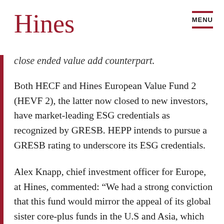Hines
close ended value add counterpart.
Both HECF and Hines European Value Fund 2 (HEVF 2), the latter now closed to new investors, have market-leading ESG credentials as recognized by GRESB. HEPP intends to pursue a GRESB rating to underscore its ESG credentials.
Alex Knapp, chief investment officer for Europe, at Hines, commented: “We had a strong conviction that this fund would mirror the appeal of its global sister core-plus funds in the U.S and Asia, which has been realized through this exceptional equity raising in its first phase.